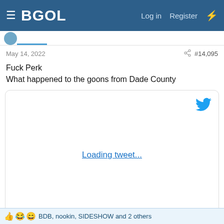BGOL  Log in  Register
May 14, 2022   #14,095
Fuck Perk
What happened to the goons from Dade County
[Figure (screenshot): Embedded tweet loading placeholder with Twitter bird icon and 'Loading tweet...' link]
BDB, nookin, SIDESHOW and 2 others